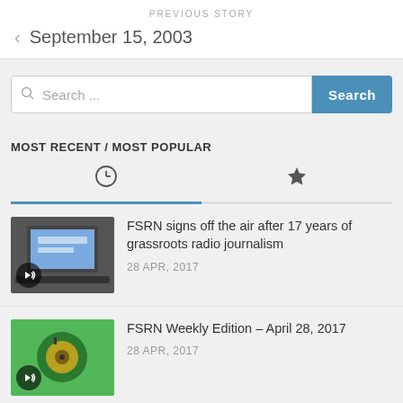PREVIOUS STORY
September 15, 2003
Search ...
MOST RECENT / MOST POPULAR
FSRN signs off the air after 17 years of grassroots radio journalism — 28 APR, 2017
FSRN Weekly Edition – April 28, 2017 — 28 APR, 2017